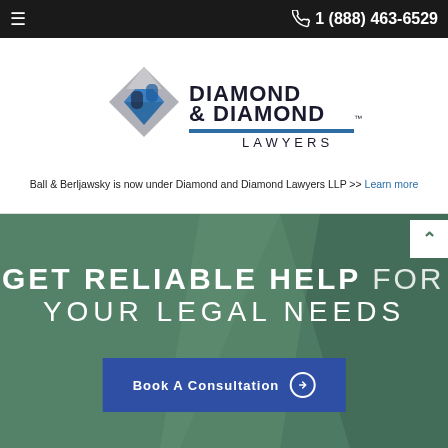1 (888) 463-6529
[Figure (logo): Diamond & Diamond Lawyers logo with geometric diamond shape and text]
Ball & Berljawsky is now under Diamond and Diamond Lawyers LLP >> Learn more
GET RELIABLE HELP FOR YOUR LEGAL NEEDS
Book A Consultation